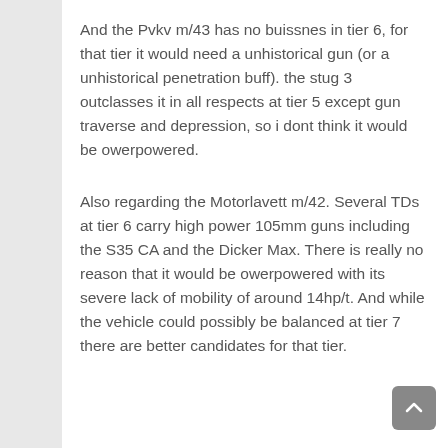And the Pvkv m/43 has no buissnes in tier 6, for that tier it would need a unhistorical gun (or a unhistorical penetration buff). the stug 3 outclasses it in all respects at tier 5 except gun traverse and depression, so i dont think it would be owerpowered.
Also regarding the Motorlavett m/42. Several TDs at tier 6 carry high power 105mm guns including the S35 CA and the Dicker Max. There is really no reason that it would be owerpowered with its severe lack of mobility of around 14hp/t. And while the vehicle could possibly be balanced at tier 7 there are better candidates for that tier.